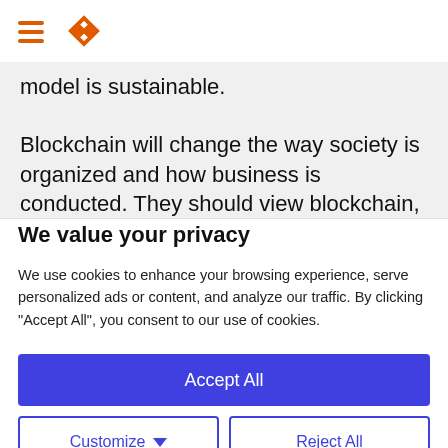[hamburger menu icon] [logo icon]
model is sustainable.
Blockchain will change the way society is organized and how business is conducted. They should view blockchain, not as competitor, but as
We value your privacy
We use cookies to enhance your browsing experience, serve personalized ads or content, and analyze our traffic. By clicking "Accept All", you consent to our use of cookies.
Accept All
Customize
Reject All